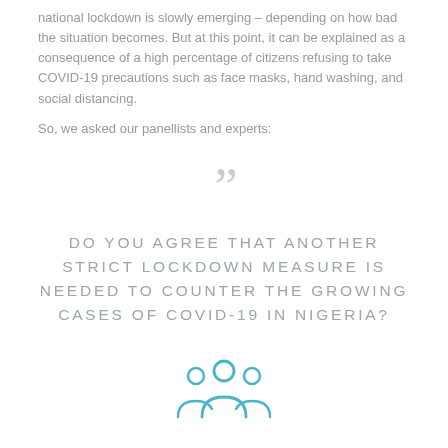national lockdown is slowly emerging – depending on how bad the situation becomes. But at this point, it can be explained as a consequence of a high percentage of citizens refusing to take COVID-19 precautions such as face masks, hand washing, and social distancing.
So, we asked our panellists and experts:
[Figure (illustration): Large decorative double closing quotation mark in light grey]
DO YOU AGREE THAT ANOTHER STRICT LOCKDOWN MEASURE IS NEEDED TO COUNTER THE GROWING CASES OF COVID-19 IN NIGERIA?
[Figure (illustration): Icon of a group of people (panellists/community) in teal/blue outline style]